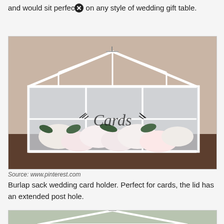and would sit perfectly on any style of wedding gift table.
[Figure (photo): A glass greenhouse-style wedding card box filled with white and pink artificial roses, with decorative script text on the glass front, white metal frame structure with peaked roof.]
Source: www.pinterest.com
Burlap sack wedding card holder. Perfect for cards, the lid has an extended post hole.
[Figure (photo): Partial view of a similar glass greenhouse-style card box with white peaked roof frame, viewed from above/front angle outdoors.]